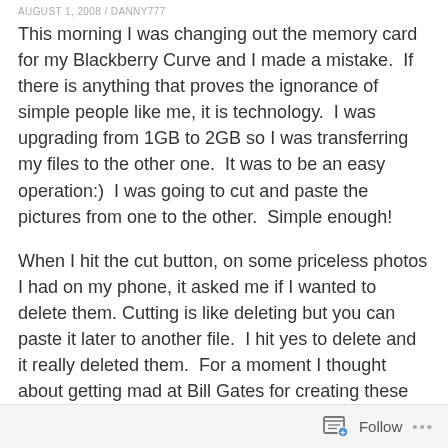AUGUST 1, 2008 / DANNY777
This morning I was changing out the memory card for my Blackberry Curve and I made a mistake.  If there is anything that proves the ignorance of simple people like me, it is technology.  I was upgrading from 1GB to 2GB so I was transferring my files to the other one.  It was to be an easy operation:)  I was going to cut and paste the pictures from one to the other.  Simple enough!
When I hit the cut button, on some priceless photos I had on my phone, it asked me if I wanted to delete them. Cutting is like deleting but you can paste it later to another file.  I hit yes to delete and it really deleted them.  For a moment I thought about getting mad at Bill Gates for creating these computers but then I
Follow ...